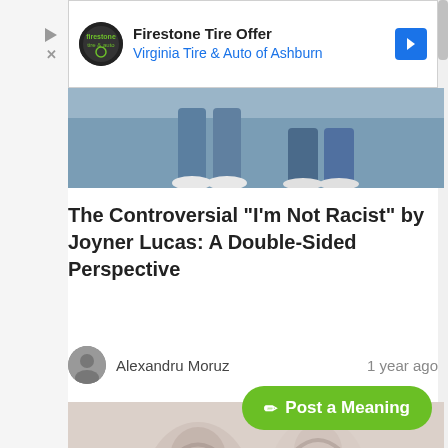[Figure (screenshot): Firestone Tire Offer ad banner with Virginia Tire & Auto of Ashburn branding, logo, and blue arrow icon]
[Figure (photo): Top cropped photo showing legs/feet in blue jeans and white sneakers]
The Controversial "I'm Not Racist" by Joyner Lucas: A Double-Sided Perspective
Alexandru Moruz    1 year ago
[Figure (photo): Faded/washed-out photo of two people, appears to be from music video for "I'm Not Racist" by Joyner Lucas]
✏ Post a Meaning